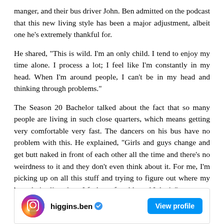manger, and their bus driver John. Ben admitted on the podcast that this new living style has been a major adjustment, albeit one he's extremely thankful for.
He shared, "This is wild. I'm an only child. I tend to enjoy my time alone. I process a lot; I feel like I'm constantly in my head. When I'm around people, I can't be in my head and thinking through problems."
The Season 20 Bachelor talked about the fact that so many people are living in such close quarters, which means getting very comfortable very fast. The dancers on his bus have no problem with this. He explained, "Girls and guys change and get butt naked in front of each other all the time and there's no weirdness to it and they don't even think about it. For me, I'm picking up on all this stuff and trying to figure out where my boundaries lie, where I feel comfortable and I don't."
[Figure (other): Instagram profile bar showing higgins.ben account with verified badge and View profile button]